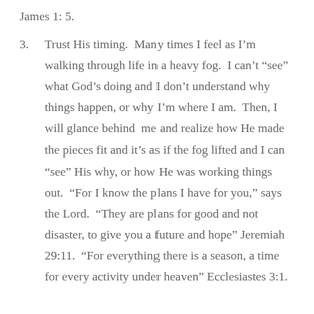James 1: 5.
3.  Trust His timing.  Many times I feel as I’m walking through life in a heavy fog.  I can’t “see” what God’s doing and I don’t understand why things happen, or why I’m where I am.  Then, I will glance behind  me and realize how He made the pieces fit and it’s as if the fog lifted and I can “see” His why, or how He was working things out.  “For I know the plans I have for you,” says the Lord.  “They are plans for good and not disaster, to give you a future and hope” Jeremiah 29:11.  “For everything there is a season, a time for every activity under heaven” Ecclesiastes 3:1.